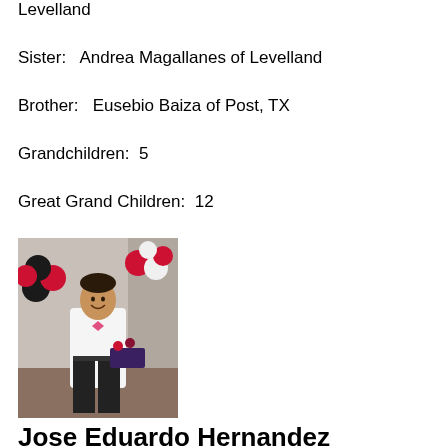Levelland
Sister:   Andrea Magallanes of Levelland
Brother:   Eusebio Baiza of Post, TX
Grandchildren:  5
Great Grand Children:  12
[Figure (photo): Young man wearing a white dress shirt and pink bow tie, standing in front of balloons (red, black, white) at a party or event, smiling at camera.]
Jose Eduardo Hernandez